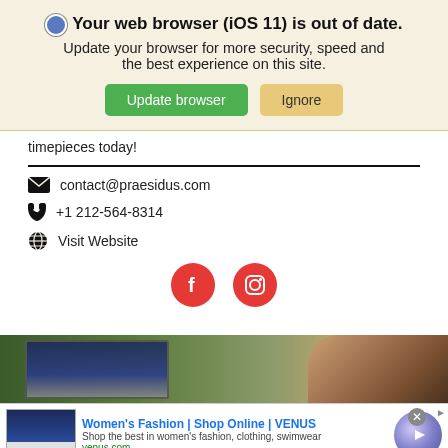Your web browser (iOS 11) is out of date. Update your browser for more security, speed and the best experience on this site.
Update browser | Ignore
timepieces today!
contact@praesidus.com
+1 212-564-8314
Visit Website
[Figure (infographic): Two red circular social media icons: Facebook (f) and Instagram (camera)]
[Figure (photo): Partial background photo of trees and a person's face]
Women's Fashion | Shop Online | VENUS
Shop the best in women's fashion, clothing, swimwear
venus.com